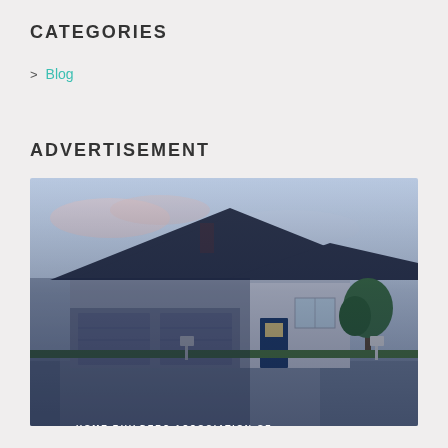CATEGORIES
> Blog
ADVERTISEMENT
[Figure (illustration): Advertisement image for Home Builders Association of East Central Illinois – Showcase Parade of Homes. Shows a modern suburban house with blue siding and garage doors, text overlay reads 'HOME BUILDERS ASSOCIATION OF EAST CENTRAL ILLINOIS' and 'SHOWCASE PARADE OF HOMES' in bold yellow.]